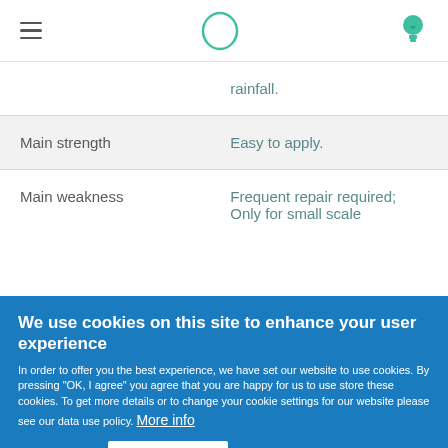Navigation bar with hamburger menu, logo, and light bulb icon
|  | rainfall. |
| Main strength | Easy to apply. |
| Main weakness | Frequent repair required; Only for small scale |
We use cookies on this site to enhance your user experience
In order to offer you the best experience, we have set our website to use cookies. By pressing "OK, I agree" you agree that you are happy for us to use store these cookies. To get more details or to change your cookie settings for our website please see our data use policy. More info
OK, I agree   No, thanks